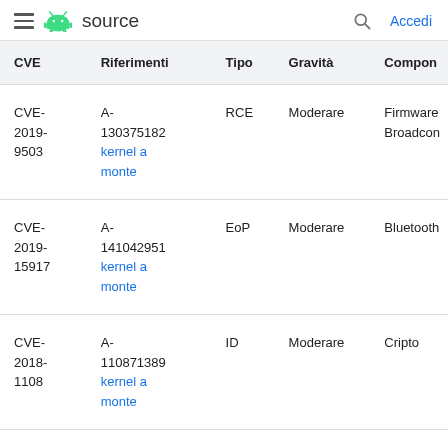≡ 🤖 source   🔍 Accedi
| CVE | Riferimenti | Tipo | Gravità | Compon |
| --- | --- | --- | --- | --- |
| CVE-2019-9503 | A-130375182 kernel a monte | RCE | Moderare | Firmware Broadcon |
| CVE-2019-15917 | A-141042951 kernel a monte | EoP | Moderare | Bluetooth |
| CVE-2018-1108 | A-110871389 kernel a monte | ID | Moderare | Cripto |